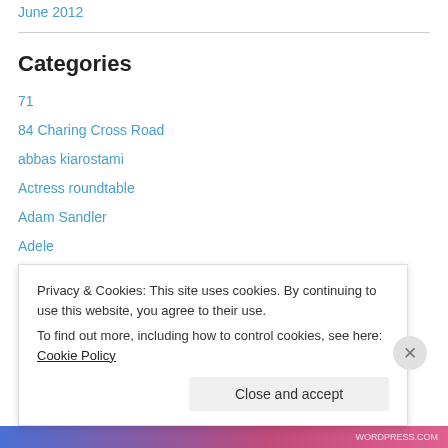June 2012
Categories
71
84 Charing Cross Road
abbas kiarostami
Actress roundtable
Adam Sandler
Adele
alfred hitchcock
alps
Amour
Privacy & Cookies: This site uses cookies. By continuing to use this website, you agree to their use. To find out more, including how to control cookies, see here: Cookie Policy
Close and accept